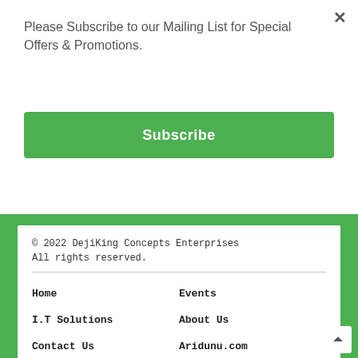Please Subscribe to our Mailing List for Special Offers & Promotions.
× (close button)
Subscribe
© 2022 DejiKing Concepts Enterprises
All rights reserved.
Home
Events
I.T Solutions
About Us
Contact Us
Aridunu.com
[Figure (illustration): Social media icons: Facebook, Instagram, Twitter]